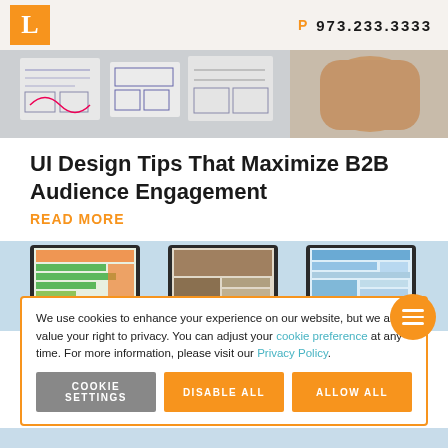L  P  973.233.3333
[Figure (photo): A hand drawing wireframe sketches on paper with pen]
UI Design Tips That Maximize B2B Audience Engagement
READ MORE
[Figure (illustration): Three computer monitors showing different website layout illustrations on a light blue background]
We use cookies to enhance your experience on our website, but we also value your right to privacy. You can adjust your cookie preference at any time. For more information, please visit our Privacy Policy.
COOKIE SETTINGS   DISABLE ALL   ALLOW ALL